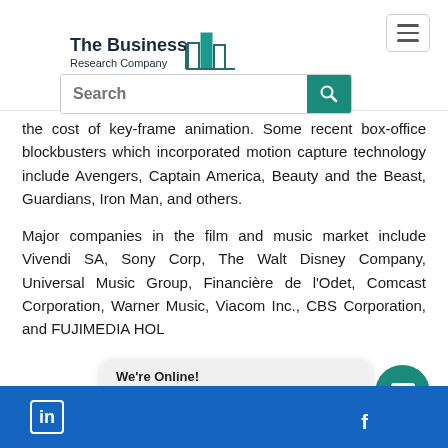[Figure (logo): The Business Research Company logo with building silhouette in teal/dark teal]
the cost of key-frame animation. Some recent box-office blockbusters which incorporated motion capture technology include Avengers, Captain America, Beauty and the Beast, Guardians, Iron Man, and others.
Major companies in the film and music market include Vivendi SA, Sony Corp, The Walt Disney Company, Universal Music Group, Financière de l'Odet, Comcast Corporation, Warner Music, Viacom Inc., CBS Corporation, and FUJIMEDIA HOL...